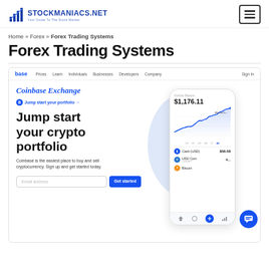STOCKMANIACS.NET — Your Guide To The Stock Market
Home » Forex » Forex Trading Systems
Forex Trading Systems
[Figure (screenshot): Screenshot of the Coinbase Exchange website homepage showing navigation bar with links (Prices, Learn, Individuals, Businesses, Developers, Company, Sign In), the heading 'Coinbase Exchange', a subheading 'Jump start your portfolio →', large hero text 'Jump start your crypto portfolio', body text 'Coinbase is the easiest place to buy and sell cryptocurrency. Sign up and get started today.', an email input field and 'Get started' button, and a phone mockup showing a crypto portfolio with balance $1,176.11 and a line chart, with asset listings for Cash (USD), USD Coin, and Bitcoin, and a blue chat bubble in the lower right.]